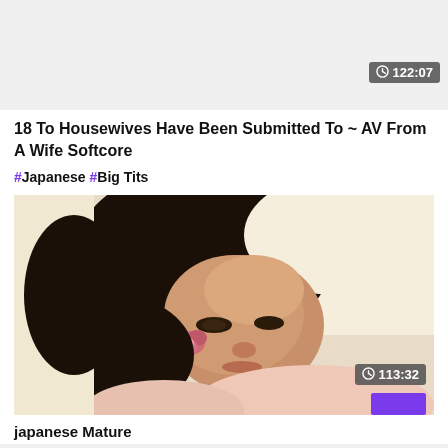122:07
18 To Housewives Have Been Submitted To ~ AV From A Wife Softcore
#Japanese #Big Tits
[Figure (photo): Video thumbnail showing a Japanese woman with dark hair and a pink flower accessory, looking downward]
113:32
japanese Mature